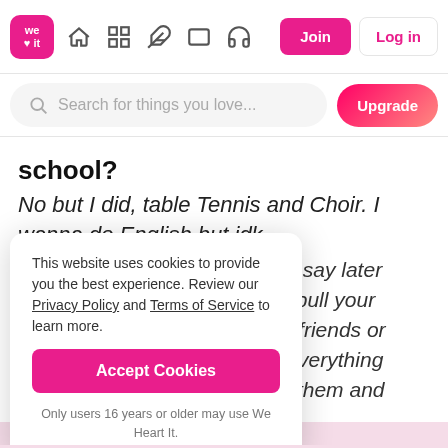We Heart It navigation bar with logo, icons, Join, Log in buttons
Search for things you love...
school?
No but I did, table Tennis and Choir. I wanna do English but idk.
have to say later alone pull your to your friends or an do everything to hold them and stay true to yourself.
This website uses cookies to provide you the best experience. Review our Privacy Policy and Terms of Service to learn more.
Accept Cookies
Only users 16 years or older may use We Heart It.